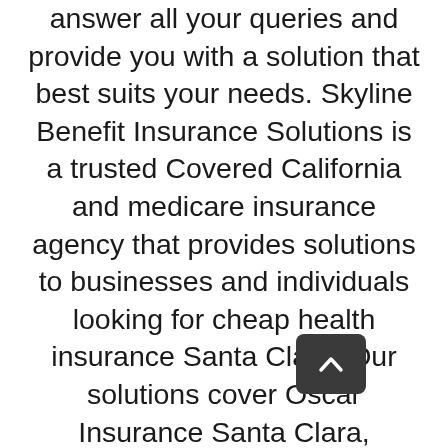answer all your queries and provide you with a solution that best suits your needs. Skyline Benefit Insurance Solutions is a trusted Covered California and medicare insurance agency that provides solutions to businesses and individuals looking for cheap health insurance Santa Clara. Our solutions cover Oscar Insurance Santa Clara, Covered California Santa Clara, Small Business Health Insurance Santa Clara, Group Health Insurance Santa Clara, Vision Insurance Santa Clara, Medicare Part A, Medicare Part B, Medicare Part C, Medicare Part D, Medicare Advantage Plan Santa Clara, Medicare Supplement Plan Santa Clara, Medicare Age Santa Clara, Medicare Plan G, Stop-Loss Insurance, and more